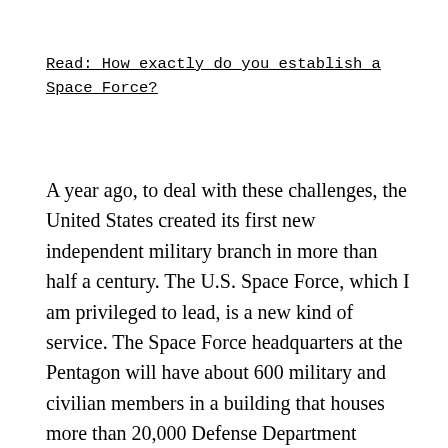Read: How exactly do you establish a Space Force?
A year ago, to deal with these challenges, the United States created its first new independent military branch in more than half a century. The U.S. Space Force, which I am privileged to lead, is a new kind of service. The Space Force headquarters at the Pentagon will have about 600 military and civilian members in a building that houses more than 20,000 Defense Department